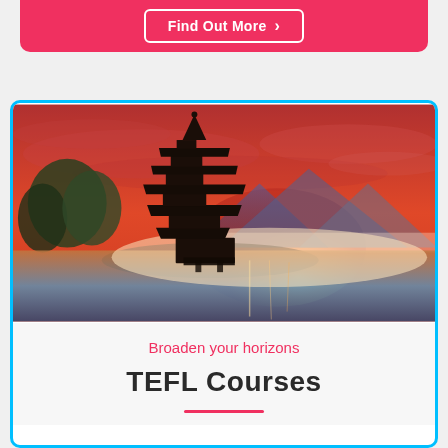[Figure (other): Pink/red banner strip at top with 'Find Out More' button with right arrow]
[Figure (photo): Illustration of a Japanese pagoda silhouetted against a dramatic red-orange sunset sky, with misty mountains reflected in a calm lake below]
Broaden your horizons
TEFL Courses